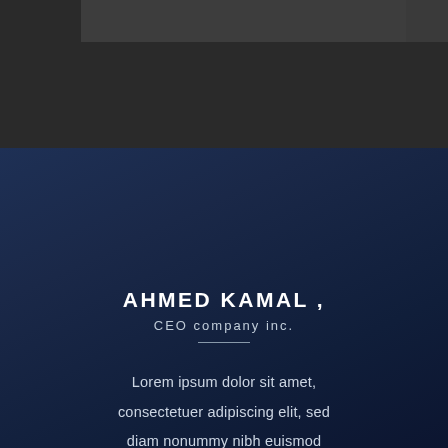[Figure (photo): Dark gray banner/header image area at the top of the page]
AHMED KAMAL ,
CEO company inc.
Lorem ipsum dolor sit amet, consectetuer adipiscing elit, sed diam nonummy nibh euismod tincidunt ut laoreet dolore magna aliquam erat volutpat. Ut wisi enim